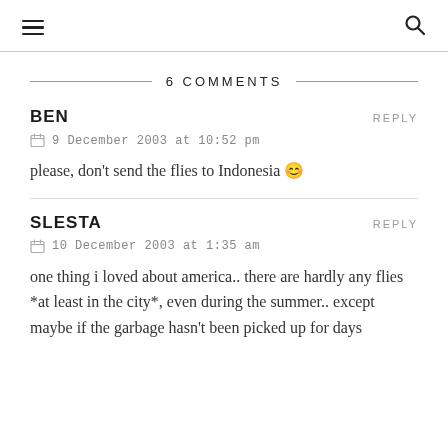☰  🔍
6 COMMENTS
BEN
REPLY
9 December 2003 at 10:52 pm
please, don't send the flies to Indonesia 😊
SLESTA
REPLY
10 December 2003 at 1:35 am
one thing i loved about america.. there are hardly any flies *at least in the city*, even during the summer.. except maybe if the garbage hasn't been picked up for days